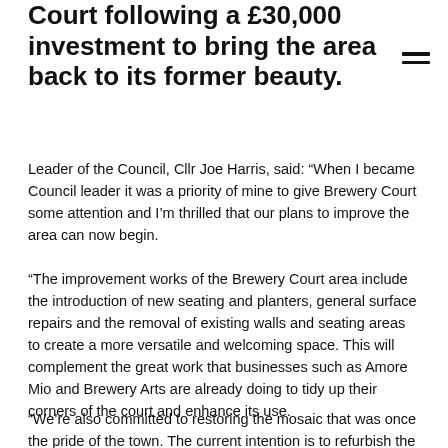Court following a £30,000 investment to bring the area back to its former beauty.
Leader of the Council, Cllr Joe Harris, said: “When I became Council leader it was a priority of mine to give Brewery Court some attention and I’m thrilled that our plans to improve the area can now begin.
“The improvement works of the Brewery Court area include the introduction of new seating and planters, general surface repairs and the removal of existing walls and seating areas to create a more versatile and welcoming space. This will complement the great work that businesses such as Amore Mio and Brewery Arts are already doing to tidy up their corners of the court and enhance its use.
“We’re also committed to restoring the mosaic that was once the pride of the town. The current intention is to refurbish the mosaic to its original design and